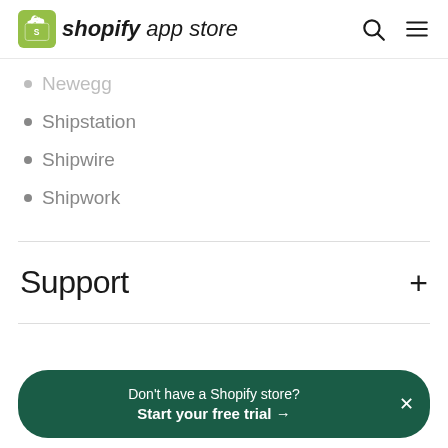shopify app store
Newegg
Shipstation
Shipwire
Shipwork
Support
Don't have a Shopify store? Start your free trial →